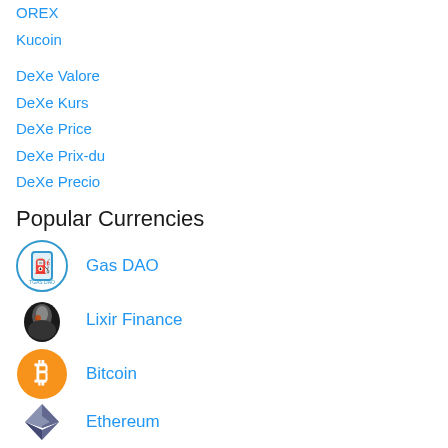OREX
Kucoin
DeXe Valore
DeXe Kurs
DeXe Price
DeXe Prix-du
DeXe Precio
Popular Currencies
Gas DAO
Lixir Finance
Bitcoin
Ethereum
Binance Coin
BNB